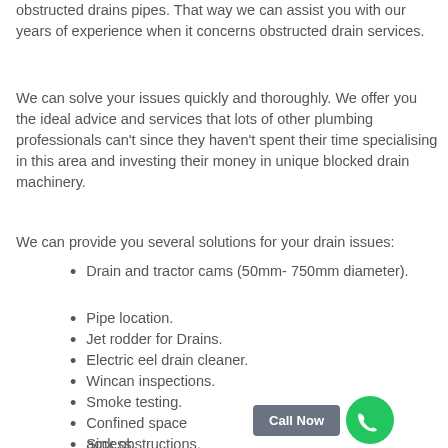obstructed drains pipes. That way we can assist you with our years of experience when it concerns obstructed drain services.
We can solve your issues quickly and thoroughly. We offer you the ideal advice and services that lots of other plumbing professionals can't since they haven't spent their time specialising in this area and investing their money in unique blocked drain machinery.
We can provide you several solutions for your drain issues:
Drain and tractor cams (50mm- 750mm diameter).
Pipe location.
Jet rodder for Drains.
Electric eel drain cleaner.
Wincan inspections.
Smoke testing.
Confined space access.
Sink obstructions.